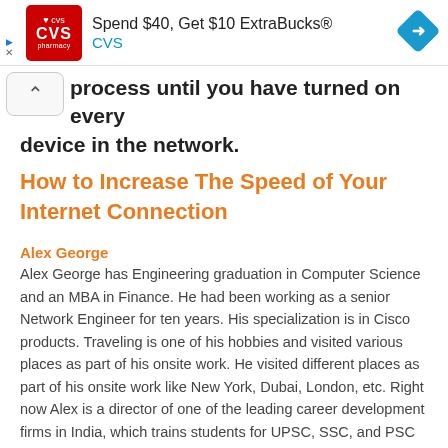[Figure (other): CVS Pharmacy advertisement banner: Spend $40, Get $10 ExtraBucks® CVS, with CVS logo and navigation arrow icon]
process until you have turned on every device in the network.
How to Increase The Speed of Your Internet Connection
Alex George
Alex George has Engineering graduation in Computer Science and an MBA in Finance. He had been working as a senior Network Engineer for ten years. His specialization is in Cisco products. Traveling is one of his hobbies and visited various places as part of his onsite work. He visited different places as part of his onsite work like New York, Dubai, London, etc. Right now Alex is a director of one of the leading career development firms in India, which trains students for UPSC, SSC, and PSC examinations. He guides a lot of students to